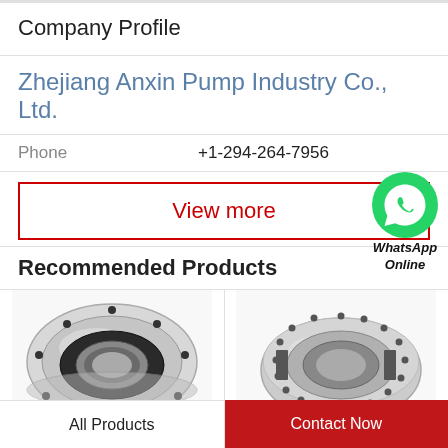Company Profile
Zhejiang Anxin Pump Industry Co., Ltd.
Phone   +1-294-264-7956
View more
[Figure (logo): WhatsApp green circle icon with phone handset, labeled 'WhatsApp Online' in italic bold text]
Recommended Products
[Figure (photo): Circular metallic pump flange or bearing ring component, silver/chrome colored with bolt holes around the perimeter and a hollow center, viewed from above at a slight angle]
[Figure (photo): Circular metallic pump ring component, silver/chrome with small holes around the rim and internal gap/slot, viewed from slight angle]
All Products
Contact Now